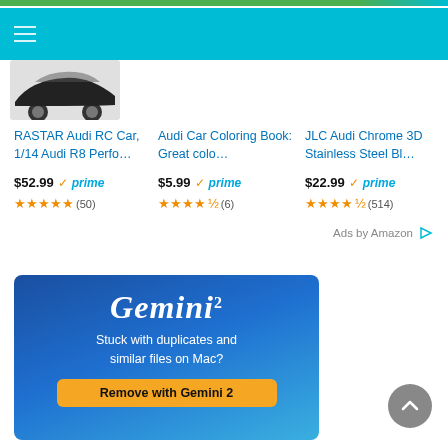[Figure (screenshot): Amazon product listing page showing three Audi-related products with prices and star ratings, and a Gemini 2 advertisement below]
RASTAR Audi RC Car, 1/14 Audi R8 Perfo…
$52.99 ✓prime ★★★★★ (50)
Audi Car Coloring Book: Great colo…
$5.99 ✓prime ★★★★½ (6)
JLC Audi Chrome 3D Stainless Steel Bl…
$22.99 ✓prime ★★★★½ (514)
Ads by Amazon ▷
[Figure (illustration): Gemini 2 advertisement with blue gradient background showing 'Gemini²' title and 'Stuck with duplicates and similar files on Mac?' text with 'Remove with Gemini 2' button]